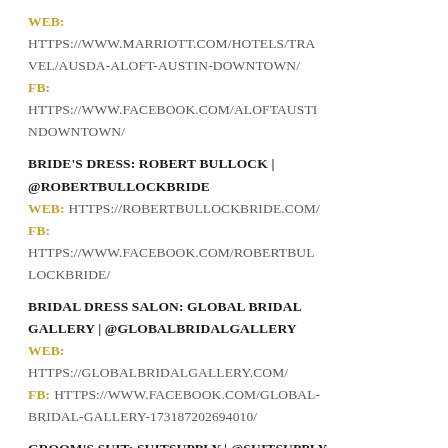WEB: HTTPS://WWW.MARRIOTT.COM/HOTELS/TRAVEL/AUSDA-ALOFT-AUSTIN-DOWNTOWN/ FB: HTTPS://WWW.FACEBOOK.COM/ALOFTAUSTINDOWNTOWN/
BRIDE'S DRESS: ROBERT BULLOCK | @ROBERTBULLOCKBRIDE WEB: HTTPS://ROBERTBULLOCKBRIDE.COM/ FB: HTTPS://WWW.FACEBOOK.COM/ROBERTBULLOCKBRIDE/
BRIDAL DRESS SALON: GLOBAL BRIDAL GALLERY | @GLOBALBRIDALGALLERY WEB: HTTPS://GLOBALBRIDALGALLERY.COM/ FB: HTTPS://WWW.FACEBOOK.COM/GLOBAL-BRIDAL-GALLERY-173187202694010/
GROOM'S SUIT: SUITSUPPLY | @SUITSUPPLY WEB: HTTPS://US.SUITSUPPLY.COM/EN_US/HOME FB: HTTPS://WWW.FACEBOOK.COM/SUITSUPPLY
CAKE/DESSERT: WALTON'S AUSTIN | @WALTONSAUSTIN